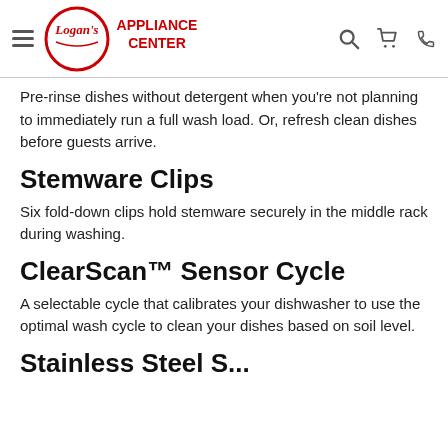Logan's Appliance Center
Pre-rinse dishes without detergent when you're not planning to immediately run a full wash load. Or, refresh clean dishes before guests arrive.
Stemware Clips
Six fold-down clips hold stemware securely in the middle rack during washing.
ClearScan™ Sensor Cycle
A selectable cycle that calibrates your dishwasher to use the optimal wash cycle to clean your dishes based on soil level.
Stainless Steel S...